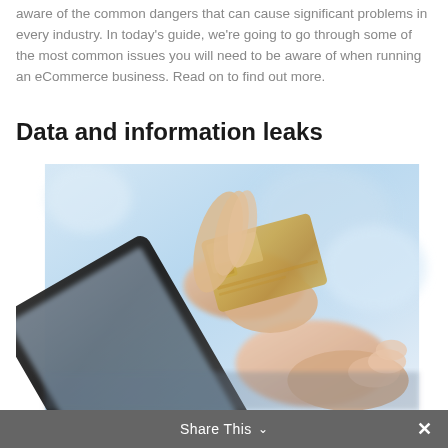aware of the common dangers that can cause significant problems in every industry. In today's guide, we're going to go through some of the most common issues you will need to be aware of when running an eCommerce business. Read on to find out more.
Data and information leaks
[Figure (photo): Hands holding a credit card above a tablet device, suggesting online shopping or eCommerce payment, light blue blurred background]
Share This ∨ ✕